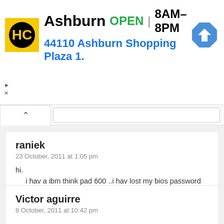[Figure (other): Advertisement banner for HC (Hawkins Company or similar) showing store in Ashburn. Logo: yellow square with HC in black circle. Text: Ashburn OPEN | 8AM-8PM, 44110 Ashburn Shopping Plaza 1. Navigation arrow icon on right.]
raniek
23 October, 2011 at 1:05 pm
hi.
     i hav a ibm think pad 600 ..i hav lost my bios password .when i run the laptop its required the passoword ..any idea for the recovery the password
.....
REPLY
Victor aguirre
8 October, 2011 at 10:42 pm